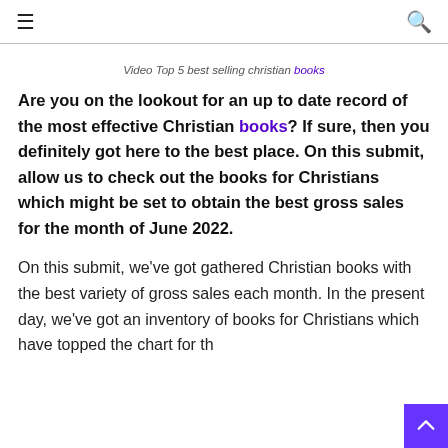≡  🔍
Video Top 5 best selling christian books
Are you on the lookout for an up to date record of the most effective Christian books? If sure, then you definitely got here to the best place. On this submit, allow us to check out the books for Christians which might be set to obtain the best gross sales for the month of June 2022.
On this submit, we've got gathered Christian books with the best variety of gross sales each month. In the present day, we've got an inventory of books for Christians which have topped the chart for th